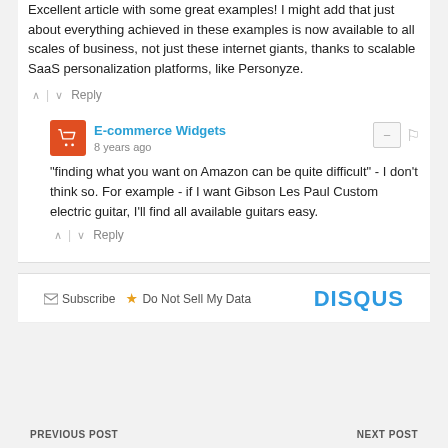Excellent article with some great examples! I might add that just about everything achieved in these examples is now available to all scales of business, not just these internet giants, thanks to scalable SaaS personalization platforms, like Personyze.
E-commerce Widgets
8 years ago
"finding what you want on Amazon can be quite difficult" - I don't think so. For example - if I want Gibson Les Paul Custom electric guitar, I'll find all available guitars easy.
Subscribe   Do Not Sell My Data   DISQUS
PREVIOUS POST   NEXT POST